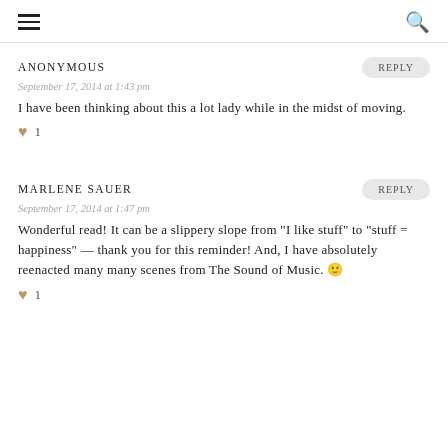≡  🔍
ANONYMOUS
REPLY
September 17, 2014 at 1:43 pm
I have been thinking about this a lot lady while in the midst of moving.
♥ 1
MARLENE SAUER
REPLY
September 17, 2014 at 1:47 pm
Wonderful read! It can be a slippery slope from "I like stuff" to "stuff = happiness" — thank you for this reminder! And, I have absolutely reenacted many many scenes from The Sound of Music. 🙂
♥ 1